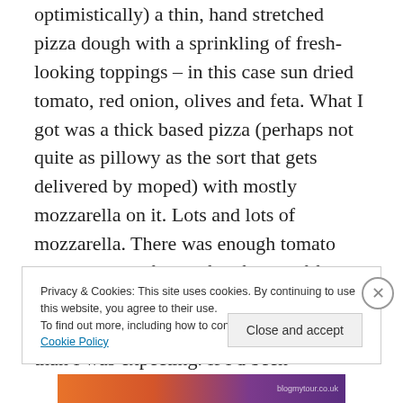optimistically) a thin, hand stretched pizza dough with a sprinkling of fresh-looking toppings – in this case sun dried tomato, red onion, olives and feta. What I got was a thick based pizza (perhaps not quite as pillowy as the sort that gets delivered by moped) with mostly mozzarella on it. Lots and lots of mozzarella. There was enough tomato sauce to identify it, a few flecks of feta cheese and rather more black olives (that looked like rubber washers from a tin) than I was expecting. If I'd been
Privacy & Cookies: This site uses cookies. By continuing to use this website, you agree to their use.
To find out more, including how to control cookies, see here: Cookie Policy
Close and accept
[Figure (photo): Colorful banner image at bottom of page with orange, red and purple gradient colors]